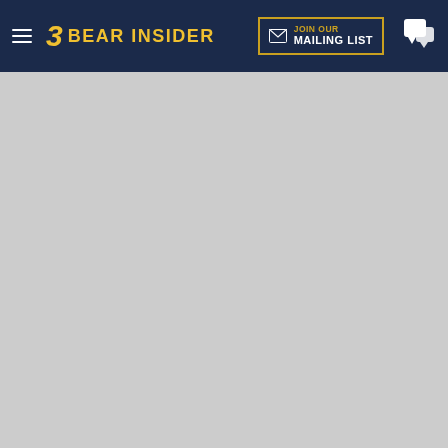Bear Insider — JOIN OUR MAILING LIST
[Figure (other): Gray advertisement/content placeholder area]
oski003  H    1:33p. 8/24/21
In reply to Cal89
+ 1 more quotes (click to expand)